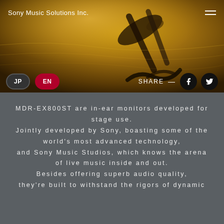[Figure (photo): Close-up photo of Sony MDR-EX800ST in-ear monitor earphones resting on a golden/amber textured surface, with warm bokeh background lighting]
Sony Music Solutions Inc.
JP  EN  SHARE  [Facebook] [Twitter]
MDR-EX800ST are in-ear monitors developed for stage use.
Jointly developed by Sony, boasting some of the world's most advanced technology,
and Sony Music Studios, which knows the arena of live music inside and out.
Besides offering superb audio quality,
they're built to withstand the rigors of dynamic